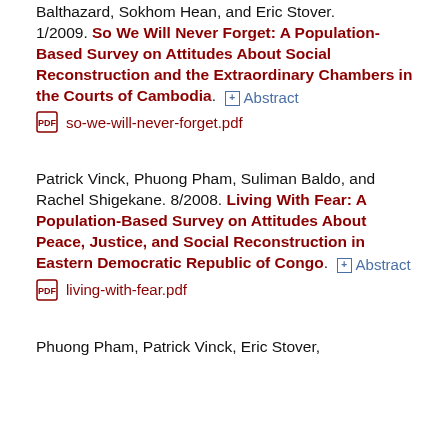Balthazard, Sokhom Hean, and Eric Stover. 1/2009. So We Will Never Forget: A Population-Based Survey on Attitudes About Social Reconstruction and the Extraordinary Chambers in the Courts of Cambodia. [Abstract] so-we-will-never-forget.pdf
Patrick Vinck, Phuong Pham, Suliman Baldo, and Rachel Shigekane. 8/2008. Living With Fear: A Population-Based Survey on Attitudes About Peace, Justice, and Social Reconstruction in Eastern Democratic Republic of Congo. [Abstract] living-with-fear.pdf
Phuong Pham, Patrick Vinck, Eric Stover,